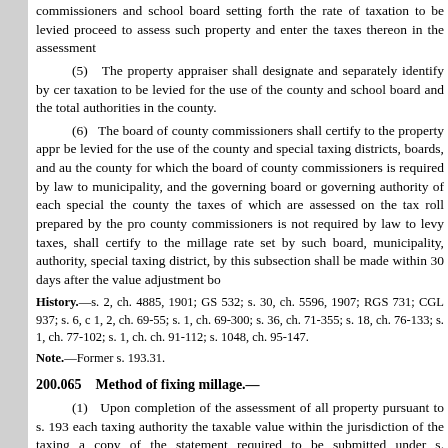commissioners and school board setting forth the rate of taxation to be levied proceed to assess such property and enter the taxes thereon in the assessment
(5)   The property appraiser shall designate and separately identify by cer taxation to be levied for the use of the county and school board and the total authorities in the county.
(6)   The board of county commissioners shall certify to the property appr be levied for the use of the county and special taxing districts, boards, and au the county for which the board of county commissioners is required by law to municipality, and the governing board or governing authority of each special the county the taxes of which are assessed on the tax roll prepared by the pro county commissioners is not required by law to levy taxes, shall certify to the millage rate set by such board, municipality, authority, special taxing district, by this subsection shall be made within 30 days after the value adjustment bo
History.—s. 2, ch. 4885, 1901; GS 532; s. 30, ch. 5596, 1907; RGS 731; CGL 937; s. 6, c 1, 2, ch. 69-55; s. 1, ch. 69-300; s. 36, ch. 71-355; s. 18, ch. 76-133; s. 1, ch. 77-102; s. 1, ch. ch. 91-112; s. 1048, ch. 95-147.
Note.—Former s. 193.31.
200.065    Method of fixing millage.—
(1)   Upon completion of the assessment of all property pursuant to s. 193 each taxing authority the taxable value within the jurisdiction of the taxing a copy of the statement required to be submitted under s. 195.073(3), as applic which the certification is made shall include instructions to each taxing autho